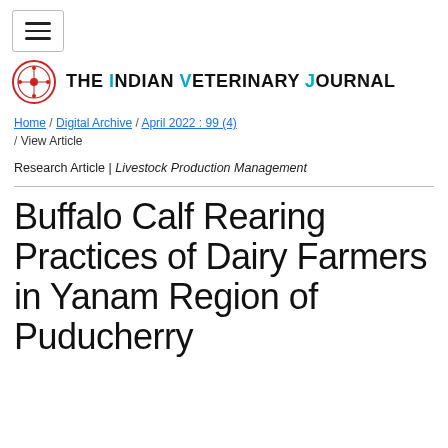THE INDIAN VETERINARY JOURNAL
Home / Digital Archive / April 2022 : 99 (4) / View Article
Research Article | Livestock Production Management
Buffalo Calf Rearing Practices of Dairy Farmers in Yanam Region of Puducherry